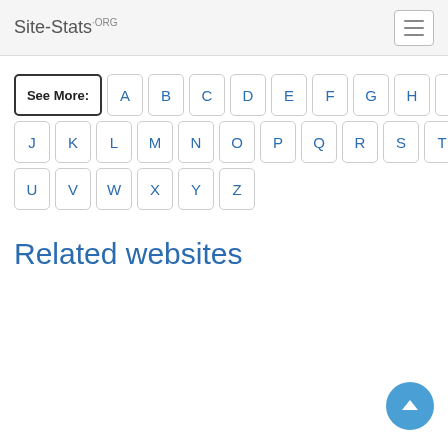Site-Stats.ORG
See More: A B C D E F G H I J K L M N O P Q R S T U V W X Y Z
Related websites